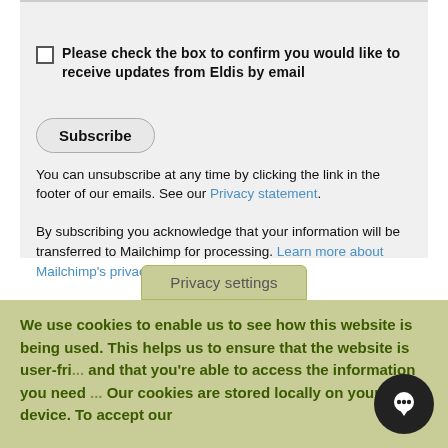Please check the box to confirm you would like to receive updates from Eldis by email
Subscribe
You can unsubscribe at any time by clicking the link in the footer of our emails. See our Privacy statement.
By subscribing you acknowledge that your information will be transferred to Mailchimp for processing. Learn more about Mailchimp's privacy practices here.
Privacy settings
We use cookies to enable us to see how this website is being used. This helps us to ensure that the website is user-friendly and that you're able to access the information you need and... Our cookies are stored locally on your device. To accept our